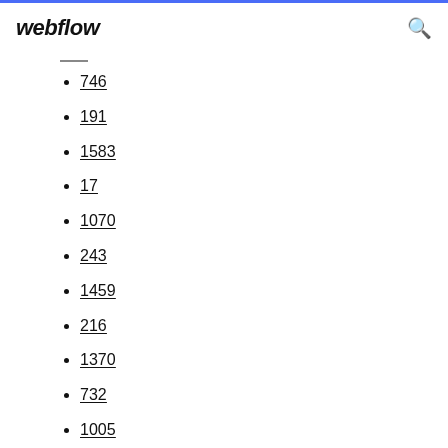webflow
746
191
1583
17
1070
243
1459
216
1370
732
1005
1752